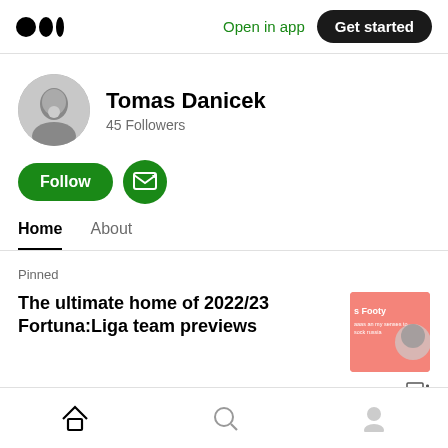Medium logo | Open in app | Get started
Tomas Danicek
45 Followers
Follow | Subscribe button
Home | About
Pinned
The ultimate home of 2022/23 Fortuna:Liga team previews
2 min read
Home | Search | Profile